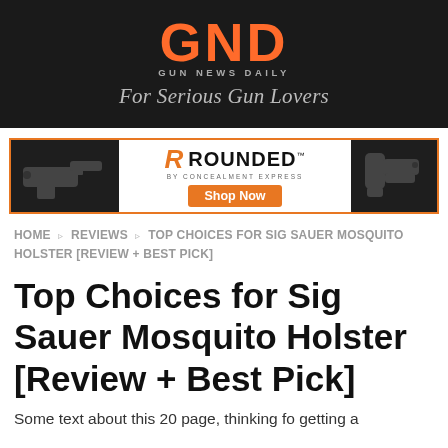GUN NEWS DAILY — For Serious Gun Lovers
[Figure (infographic): Rounded by Concealment Express advertisement banner with gun holster images on left and right, orange R logo, ROUNDED text, and orange Shop Now button]
HOME ▷ REVIEWS ▷ TOP CHOICES FOR SIG SAUER MOSQUITO HOLSTER [REVIEW + BEST PICK]
Top Choices for Sig Sauer Mosquito Holster [Review + Best Pick]
Some text beginning...